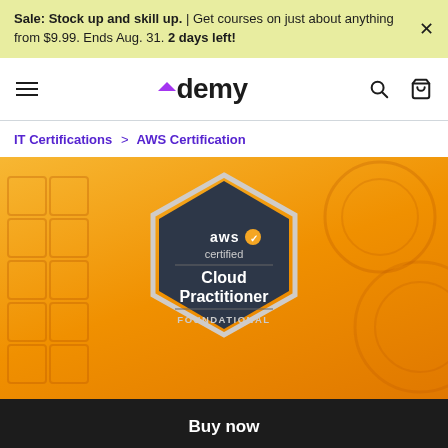Sale: Stock up and skill up. | Get courses on just about anything from $9.99. Ends Aug. 31. 2 days left!
Udemy
IT Certifications > AWS Certification
[Figure (illustration): AWS Certified Cloud Practitioner Foundational badge/logo on orange gradient background with decorative geometric patterns]
Buy now